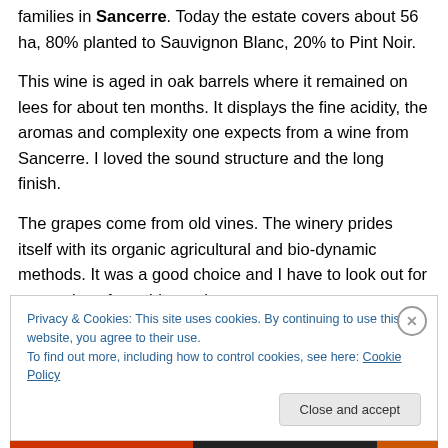families in Sancerre. Today the estate covers about 56 ha, 80% planted to Sauvignon Blanc, 20% to Pint Noir.
This wine is aged in oak barrels where it remained on lees for about ten months. It displays the fine acidity, the aromas and complexity one expects from a wine from Sancerre. I loved the sound structure and the long finish.
The grapes come from old vines. The winery prides itself with its organic agricultural and bio-dynamic methods. It was a good choice and I have to look out for more wines from this producer.
Privacy & Cookies: This site uses cookies. By continuing to use this website, you agree to their use.
To find out more, including how to control cookies, see here: Cookie Policy